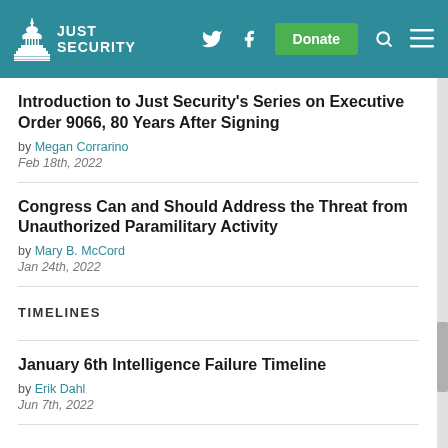Just Security
Introduction to Just Security's Series on Executive Order 9066, 80 Years After Signing
by Megan Corrarino
Feb 18th, 2022
Congress Can and Should Address the Threat from Unauthorized Paramilitary Activity
by Mary B. McCord
Jan 24th, 2022
TIMELINES
January 6th Intelligence Failure Timeline
by Erik Dahl
Jun 7th, 2022